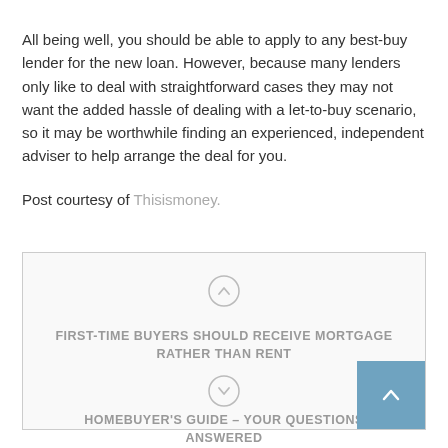All being well, you should be able to apply to any best-buy lender for the new loan. However, because many lenders only like to deal with straightforward cases they may not want the added hassle of dealing with a let-to-buy scenario, so it may be worthwhile finding an experienced, independent adviser to help arrange the deal for you.
Post courtesy of Thisismoney.
FIRST-TIME BUYERS SHOULD RECEIVE MORTGAGE RATHER THAN RENT
HOMEBUYER'S GUIDE – YOUR QUESTIONS ANSWERED